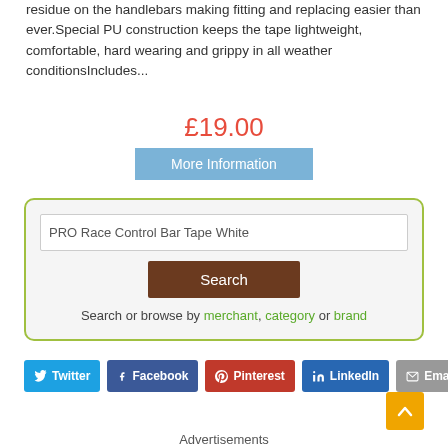residue on the handlebars making fitting and replacing easier than ever.Special PU construction keeps the tape lightweight, comfortable, hard wearing and grippy in all weather conditionsIncludes...
£19.00
More Information
PRO Race Control Bar Tape White
Search
Search or browse by merchant, category or brand
Twitter
Facebook
Pinterest
LinkedIn
Email
Advertisements